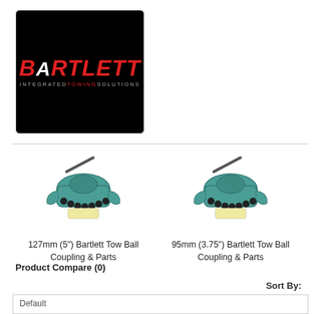[Figure (logo): Bartlett Integrated Towing Solutions logo on black background with red stylized text]
[Figure (photo): 127mm (5") Bartlett Tow Ball Coupling & Parts - green metal tow ball coupling device]
127mm (5") Bartlett Tow Ball Coupling & Parts
[Figure (photo): 95mm (3.75") Bartlett Tow Ball Coupling & Parts - green metal tow ball coupling device]
95mm (3.75") Bartlett Tow Ball Coupling & Parts
Product Compare (0)
Sort By:
Default